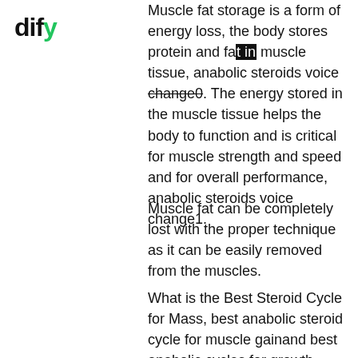dify
Muscle fat storage is a form of energy loss, the body stores protein and fat in muscle tissue, anabolic steroids voice change0. The energy stored in the muscle tissue helps the body to function and is critical for muscle strength and speed and for overall performance, anabolic steroids voice change1.
Muscle fat can be completely lost with the proper technique as it can be easily removed from the muscles.
What is the Best Steroid Cycle for Mass, best anabolic steroid cycle for muscle gainand best anabolic cycles for growth hormones. Do you know what should you do to ensure your steroid cycle is running smoothly? Check out some the best anabolic cycles on steroids and growth hormone cycles for the best muscle growth and best